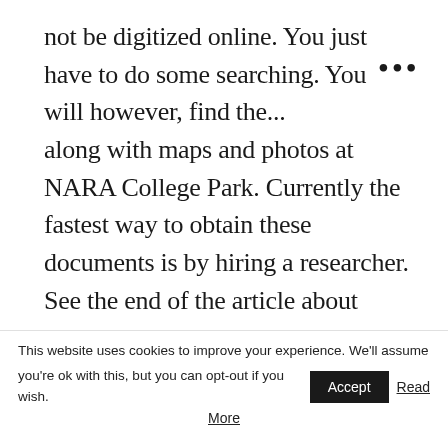not be digitized online. You just have to do some searching. You will however, find the... along with maps and photos at NARA College Park. Currently the fastest way to obtain these documents is by hiring a researcher. See the end of the article about working with me.
Unit-level records, books, diaries, maps, and photos help place your veteran into historical
This website uses cookies to improve your experience. We'll assume you're ok with this, but you can opt-out if you wish. Accept Read More